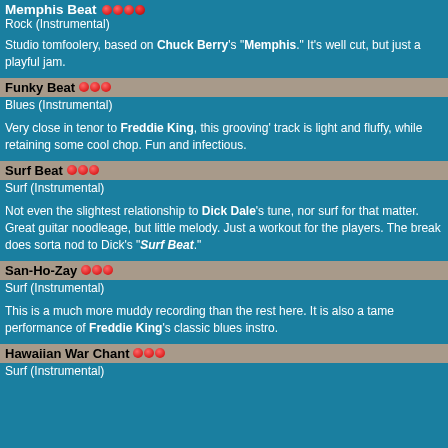Memphis Beat ●●●
Rock (Instrumental)
Studio tomfoolery, based on Chuck Berry's "Memphis." It's well cut, but just a playful jam.
Funky Beat ●●●
Blues (Instrumental)
Very close in tenor to Freddie King, this grooving' track is light and fluffy, while retaining some cool chop. Fun and infectious.
Surf Beat ●●●
Surf (Instrumental)
Not even the slightest relationship to Dick Dale's tune, nor surf for that matter. Great guitar noodleage, but little melody. Just a workout for the players. The break does sorta nod to Dick's "Surf Beat."
San-Ho-Zay ●●●
Surf (Instrumental)
This is a much more muddy recording than the rest here. It is also a tame performance of Freddie King's classic blues instro.
Hawaiian War Chant ●●●
Surf (Instrumental)